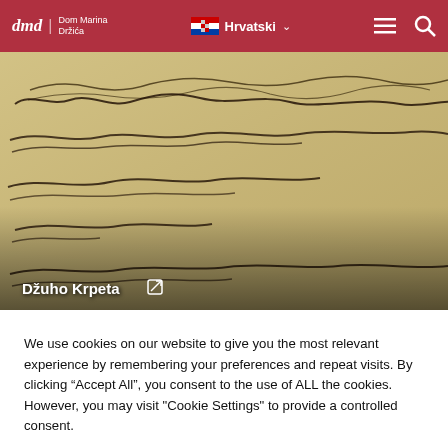dmd Dom Marina Držića | Hrvatski
[Figure (photo): Close-up photograph of an old handwritten manuscript in cursive script, yellowed parchment with dark ink. Caption overlay reads 'Džuho Krpeta' with an external link icon.]
Džuho Krpeta ↗
We use cookies on our website to give you the most relevant experience by remembering your preferences and repeat visits. By clicking "Accept All", you consent to the use of ALL the cookies. However, you may visit "Cookie Settings" to provide a controlled consent.
Cookie Settings | Accept All